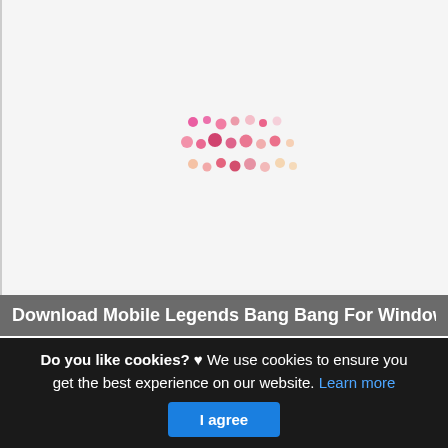[Figure (other): Loading spinner or decorative dot pattern in shades of pink, coral, and peach arranged in a loose grid/scatter pattern, indicating a loading state.]
Download Mobile Legends Bang Bang For Windows 7108
This is actually a post or even photo approximately the Download Mobile Legends Bang Bang For Windows 71088 1x Mac. if you prefer much a lot extra details around the write-up
Do you like cookies? ♥ We use cookies to ensure you get the best experience on our website. Learn more
I agree